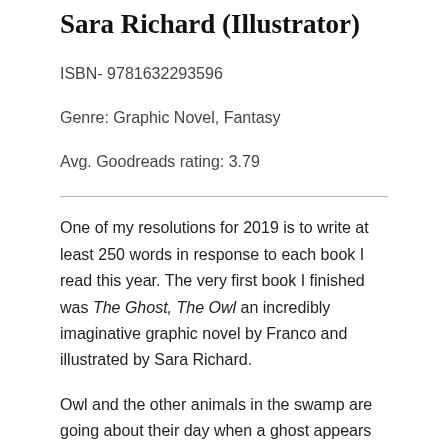Sara Richard (Illustrator)
ISBN- 9781632293596
Genre: Graphic Novel, Fantasy
Avg. Goodreads rating: 3.79
One of my resolutions for 2019 is to write at least 250 words in response to each book I read this year. The very first book I finished was The Ghost, The Owl an incredibly imaginative graphic novel by Franco and illustrated by Sara Richard.
Owl and the other animals in the swamp are going about their day when a ghost appears seemingly out of nowhere. No one has seen her before and she herself can't recall where she came from. Owl decides to take